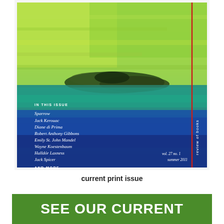[Figure (illustration): Magazine cover of 'review of books', vol. 27 no. 1, summer 2011. Features abstract painting with green and blue-teal watercolor landscape. A red vertical line on the right side. White text listing contributors: IN THIS ISSUE, Sparrow, Jack Kerouac, Diane di Prima, Robert Anthony Gibbons, Emily St. John Mandel, Wayne Koestenbaum, Halldór Laxness, Jack Spicer, AND MORE. 'review of books' printed vertically on right side.]
current print issue
SEE OUR CURRENT